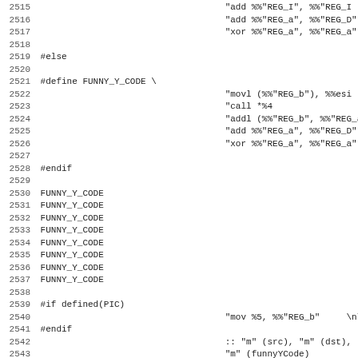Source code listing lines 2515-2547 showing C preprocessor macros for assembly code generation including FUNNY_Y_CODE macro definition with #else/#endif blocks and #if defined(PIC) conditional sections.